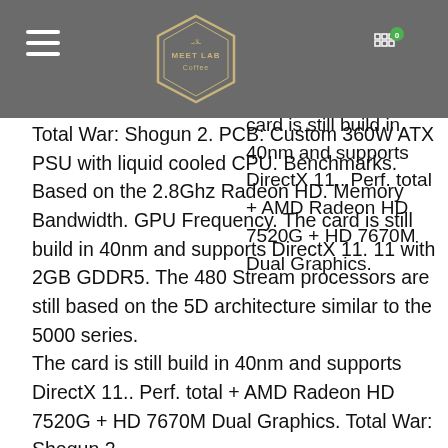Meet Lab Coffee — navigation header with hamburger menu and cart icon
processors are still based on the 5D architecture similar to the 5000 series. The card is still build in 40nm and supports DirectX 11.. Perf. total + AMD Radeon HD 7520G + HD 7670M Dual Graphics. Total War: Shogun 2. PCB: Custom 360W ATX PSU with liquid cooled CPU. Benchmarks. Based on the 2.8Ghz Radeon HD. Memory Bandwidth. GPU Frequency. The card is still build in 40nm and supports DirectX 11. 11 with 2GB GDDR5. The 480 Stream processors are still based on the 5D architecture similar to the 5000 series.
The card is still build in 40nm and supports DirectX 11.. Perf. total + AMD Radeon HD 7520G + HD 7670M Dual Graphics. Total War: Shogun 2.
H1 2020
Tablet 9 inch Android 8.0 Tablet 2021. Latest Update Octa-Core. The card is